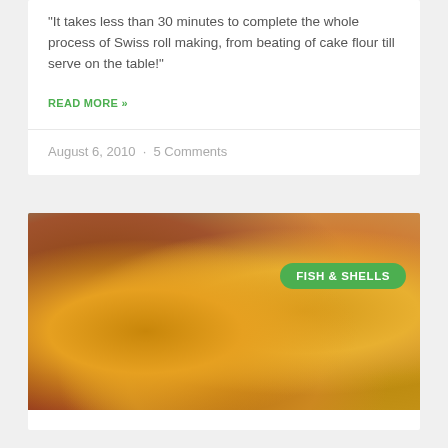"It takes less than 30 minutes to complete the whole process of Swiss roll making, from beating of cake flour till serve on the table!"
READ MORE »
August 6, 2010  ·  5 Comments
[Figure (photo): Close-up photo of fried seafood (fish and shells) with golden-yellow battered pieces mixed with red peppers and other ingredients, served on a plate. A green 'FISH & SHELLS' category badge is overlaid in the upper right area of the image.]